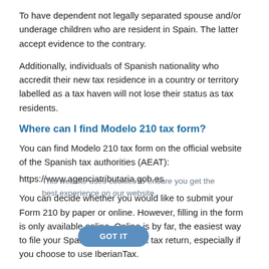To have dependent not legally separated spouse and/or underage children who are resident in Spain. The latter accept evidence to the contrary.
Additionally, individuals of Spanish nationality who accredit their new tax residence in a country or territory labelled as a tax haven will not lose their status as tax residents.
Where can I find Modelo 210 tax form?
You can find Modelo 210 tax form on the official website of the Spanish tax authorities (AEAT):
https://www.agenciatributaria.gob.es
This website uses cookies to ensure you get the best experience on our website.
You can decide whether you would like to submit your Form 210 by paper or online. However, filling in the form is only available online. Online is by far, the easiest way to file your Spanish non-resident tax return, especially if you choose to use IberianTax.